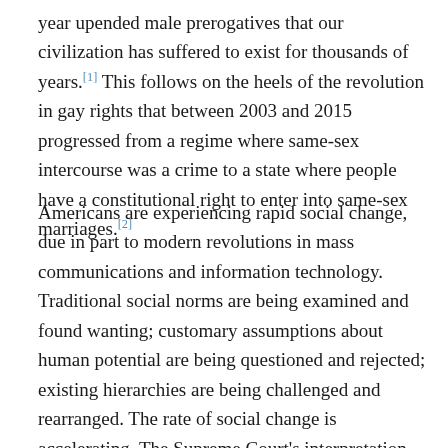year upended male prerogatives that our civilization has suffered to exist for thousands of years.[1] This follows on the heels of the revolution in gay rights that between 2003 and 2015 progressed from a regime where same-sex intercourse was a crime to a state where people have a constitutional right to enter into same-sex marriages.[2]
Americans are experiencing rapid social change, due in part to modern revolutions in mass communications and information technology. Traditional social norms are being examined and found wanting; customary assumptions about human potential are being questioned and rejected; existing hierarchies are being challenged and rearranged. The rate of social change is accelerating. The Supreme Court's interpretation of the Constitution has greatly influenced both the rate and the direction of social evolution.